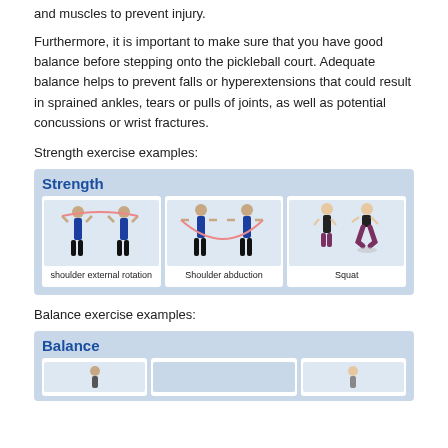and muscles to prevent injury.
Furthermore, it is important to make sure that you have good balance before stepping onto the pickleball court. Adequate balance helps to prevent falls or hyperextensions that could result in sprained ankles, tears or pulls of joints, as well as potential concussions or wrist fractures.
Strength exercise examples:
[Figure (illustration): A blue box labeled 'Strength' containing three exercise illustrations: shoulder external rotation (person with resistance band behind head), Shoulder abduction (person with resistance band stretched wide), and Squat (woman in squat position).]
Balance exercise examples:
[Figure (illustration): A blue box labeled 'Balance' with exercise illustrations partially visible at the bottom of the page.]